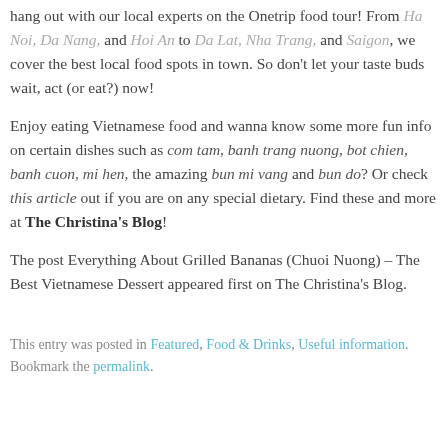hang out with our local experts on the Onetrip food tour! From Ha Noi, Da Nang, and Hoi An to Da Lat, Nha Trang, and Saigon, we cover the best local food spots in town. So don't let your taste buds wait, act (or eat?) now!
Enjoy eating Vietnamese food and wanna know some more fun info on certain dishes such as com tam, banh trang nuong, bot chien, banh cuon, mi hen, the amazing bun mi vang and bun do? Or check this article out if you are on any special dietary. Find these and more at The Christina's Blog!
The post Everything About Grilled Bananas (Chuoi Nuong) – The Best Vietnamese Dessert appeared first on The Christina's Blog.
This entry was posted in Featured, Food & Drinks, Useful information. Bookmark the permalink.